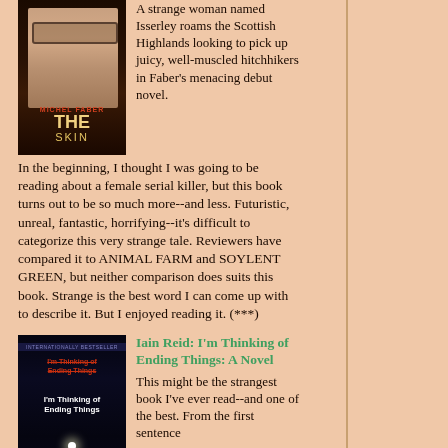[Figure (illustration): Book cover of 'Under the Skin' by Michel Faber showing a close-up of a woman's face with glasses and text]
A strange woman named Isserley roams the Scottish Highlands looking to pick up juicy, well-muscled hitchhikers in Faber's menacing debut novel. In the beginning, I thought I was going to be reading about a female serial killer, but this book turns out to be so much more--and less. Futuristic, unreal, fantastic, horrifying--it's difficult to categorize this very strange tale. Reviewers have compared it to ANIMAL FARM and SOYLENT GREEN, but neither comparison does suits this book. Strange is the best word I can come up with to describe it. But I enjoyed reading it. (***)
[Figure (illustration): Book cover of 'I'm Thinking of Ending Things: A Novel' by Iain Reid, dark cover with red strikethrough text]
Iain Reid: I'm Thinking of Ending Things: A Novel This might be the strangest book I've ever read--and one of the best. From the first sentence